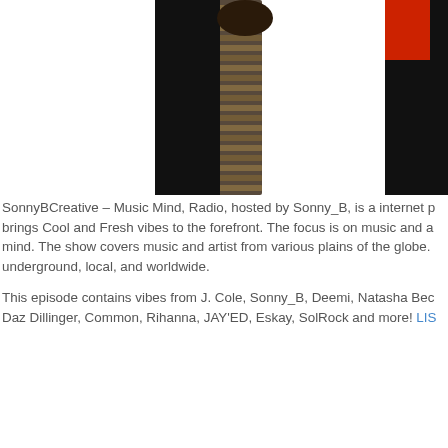[Figure (photo): Photo showing silhouetted figures: one person wearing a red shirt and black pants holding what appears to be a bullet belt or chain, another figure partially visible on the right side, white background.]
SonnyBCreative – Music Mind, Radio, hosted by Sonny_B, is a internet p... brings Cool and Fresh vibes to the forefront. The focus is on music and a... mind. The show covers music and artist from various plains of the globe. underground, local, and worldwide.
This episode contains vibes from J. Cole, Sonny_B, Deemi, Natasha Bec... Daz Dillinger, Common, Rihanna, JAY'ED, Eskay, SolRock and more! LIS...